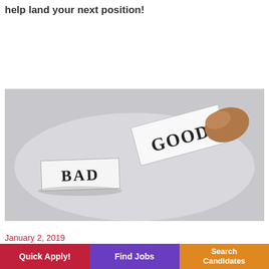few things Recruiters/Interviewers love to hear to help land your next position!
Continue reading »
[Figure (photo): A hand lifting a paper card labeled GOOD over another card labeled BAD on a gray surface]
January 2, 2019
Quick Apply!
Find Jobs
Search Candidates